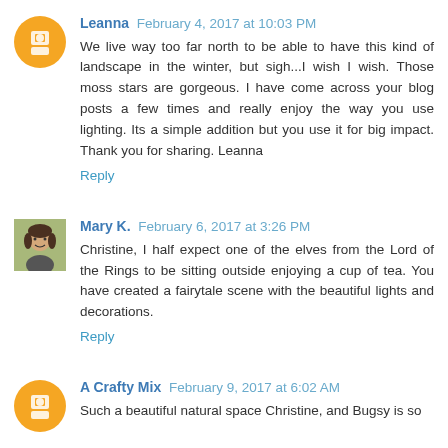Leanna February 4, 2017 at 10:03 PM
We live way too far north to be able to have this kind of landscape in the winter, but sigh...I wish I wish. Those moss stars are gorgeous. I have come across your blog posts a few times and really enjoy the way you use lighting. Its a simple addition but you use it for big impact. Thank you for sharing. Leanna
Reply
[Figure (photo): Small square photo of Mary K., a woman with dark hair]
Mary K. February 6, 2017 at 3:26 PM
Christine, I half expect one of the elves from the Lord of the Rings to be sitting outside enjoying a cup of tea. You have created a fairytale scene with the beautiful lights and decorations.
Reply
A Crafty Mix February 9, 2017 at 6:02 AM
Such a beautiful natural space Christine, and Bugsy is so